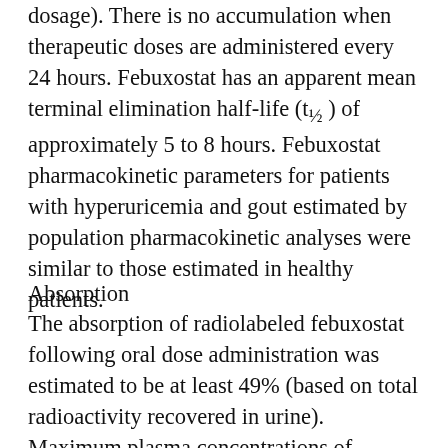dosage). There is no accumulation when therapeutic doses are administered every 24 hours. Febuxostat has an apparent mean terminal elimination half-life (t½) of approximately 5 to 8 hours. Febuxostat pharmacokinetic parameters for patients with hyperuricemia and gout estimated by population pharmacokinetic analyses were similar to those estimated in healthy patients.
Absorption
The absorption of radiolabeled febuxostat following oral dose administration was estimated to be at least 49% (based on total radioactivity recovered in urine). Maximum plasma concentrations of febuxostat occurred